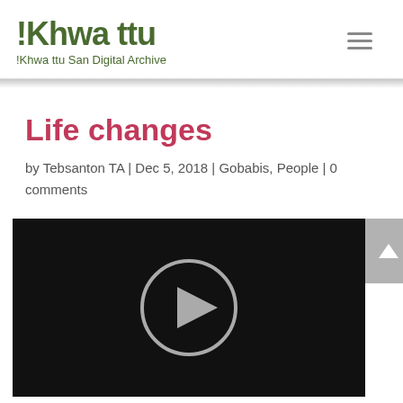!Khwa ttu | !Khwa ttu San Digital Archive
Life changes
by Tebsanton TA | Dec 5, 2018 | Gobabis, People | 0 comments
[Figure (screenshot): Video player with black background and a circular play button in the center, partially cropped at the bottom of the page.]